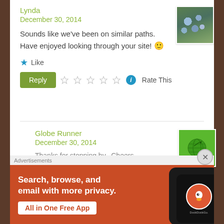Lynda
December 30, 2014
Sounds like we've been on similar paths.
Have enjoyed looking through your site! 🙂
Like
Rate This
Globe Runner
December 30, 2014
Thanks for stopping by.. Cheers
Advertisements
[Figure (screenshot): DuckDuckGo advertisement banner with orange/red background showing 'Search, browse, and email with more privacy. All in One Free App' with a phone graphic and DuckDuckGo logo]